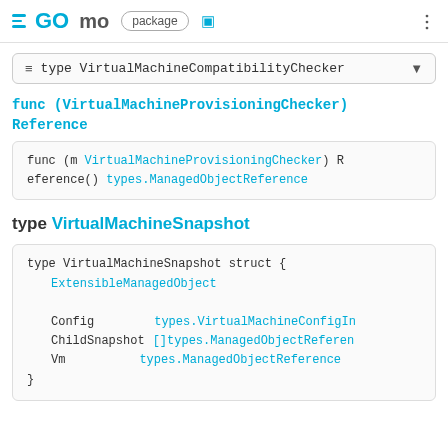GO mo package
≡ type VirtualMachineCompatibilityChecker
func (VirtualMachineProvisioningChecker) Reference
func (m VirtualMachineProvisioningChecker) Reference() types.ManagedObjectReference
type VirtualMachineSnapshot
type VirtualMachineSnapshot struct {
    ExtensibleManagedObject

    Config        types.VirtualMachineConfigIn
    ChildSnapshot []types.ManagedObjectReferen
    Vm            types.ManagedObjectReference
}